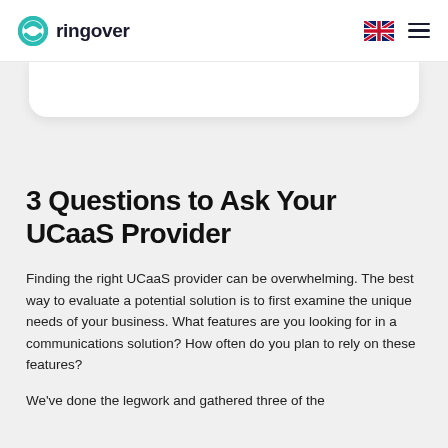ringover
3 Questions to Ask Your UCaaS Provider
Finding the right UCaaS provider can be overwhelming. The best way to evaluate a potential solution is to first examine the unique needs of your business. What features are you looking for in a communications solution? How often do you plan to rely on these features?
We've done the legwork and gathered three of the